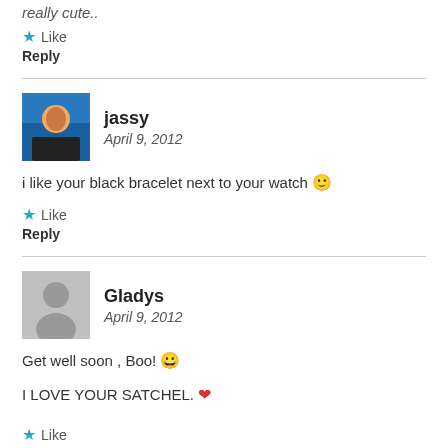really cute..
★ Like
Reply
jassy
April 9, 2012
i like your black bracelet next to your watch 🙂
★ Like
Reply
Gladys
April 9, 2012
Get well soon , Boo! 😀
I LOVE YOUR SATCHEL. ❤
★ Like